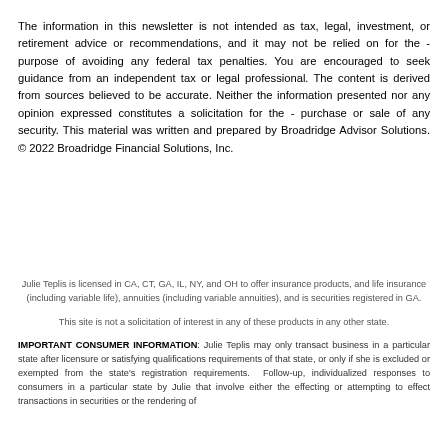The information in this newsletter is not intended as tax, legal, investment, or retirement advice or recommendations, and it may not be relied on for the purpose of avoiding any federal tax penalties. You are encouraged to seek guidance from an independent tax or legal professional. The content is derived from sources believed to be accurate. Neither the information presented nor any opinion expressed constitutes a solicitation for the purchase or sale of any security. This material was written and prepared by Broadridge Advisor Solutions. © 2022 Broadridge Financial Solutions, Inc.
Julie Teplis is licensed in CA, CT, GA, IL, NY, and OH to offer insurance products, and life insurance (including variable life), annuities (including variable annuities), and is securities registered in GA.
This site is not a solicitation of interest in any of these products in any other state.
IMPORTANT CONSUMER INFORMATION: Julie Teplis may only transact business in a particular state after licensure or satisfying qualifications requirements of that state, or only if she is excluded or exempted from the state's registration requirements. Follow-up, individualized responses to consumers in a particular state by Julie that involve either the effecting or attempting to effect transactions in securities or the rendering of